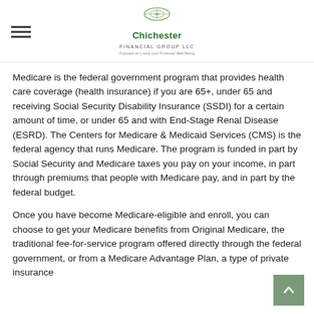Chichester Financial Group LLC
Medicare is the federal government program that provides health care coverage (health insurance) if you are 65+, under 65 and receiving Social Security Disability Insurance (SSDI) for a certain amount of time, or under 65 and with End-Stage Renal Disease (ESRD). The Centers for Medicare & Medicaid Services (CMS) is the federal agency that runs Medicare. The program is funded in part by Social Security and Medicare taxes you pay on your income, in part through premiums that people with Medicare pay, and in part by the federal budget.
Once you have become Medicare-eligible and enroll, you can choose to get your Medicare benefits from Original Medicare, the traditional fee-for-service program offered directly through the federal government, or from a Medicare Advantage Plan, a type of private insurance